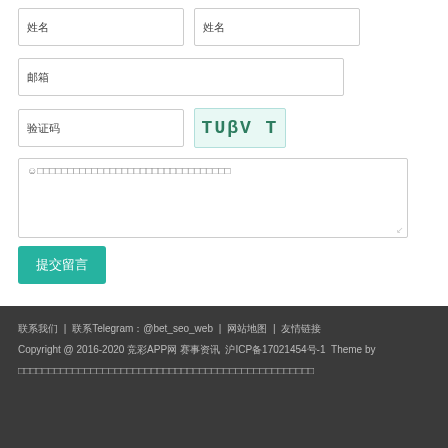[Figure (screenshot): Two small input fields side by side with Chinese placeholder text (姓名 labels)]
[Figure (screenshot): Single input field with Chinese placeholder text (邮箱)]
[Figure (screenshot): Input field with Chinese placeholder (验证码) and a CAPTCHA image showing handwritten text 'TUβV T']
[Figure (screenshot): Large textarea with emoji and Chinese placeholder text]
[Figure (screenshot): Submit button with Chinese text (提交留言)]
联系我们 | 联系Telegram：@bet_seo_web | 网站地图 | 友情链接
Copyright @ 2016-2020 竞彩APP网 赛事资讯 沪ICP备17021454号-1  Theme by
□□□□□□□□□□□□□□□□□□□□□□□□□□□□□□□□□□□□□□□□□□□□□□□□□